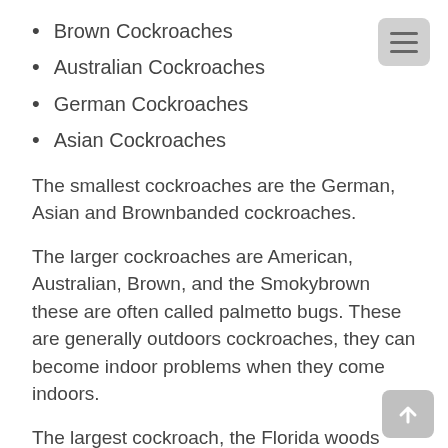Brown Cockroaches
Australian Cockroaches
German Cockroaches
Asian Cockroaches
The smallest cockroaches are the German, Asian and Brownbanded cockroaches.
The larger cockroaches are American, Australian, Brown, and the Smokybrown these are often called palmetto bugs. These are generally outdoors cockroaches, they can become indoor problems when they come indoors.
The largest cockroach, the Florida woods cockroach will also enter structures from outside. Outdoor cockroaches do not survive well indoors, and many times people overreact by a blood hurdling scream at the presence of these cockroaches. Usually the